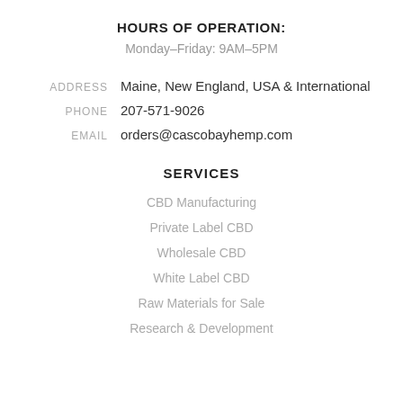HOURS OF OPERATION:
Monday–Friday: 9AM–5PM
ADDRESS   Maine, New England, USA & International
PHONE   207-571-9026
EMAIL   orders@cascobayhemp.com
SERVICES
CBD Manufacturing
Private Label CBD
Wholesale CBD
White Label CBD
Raw Materials for Sale
Research & Development